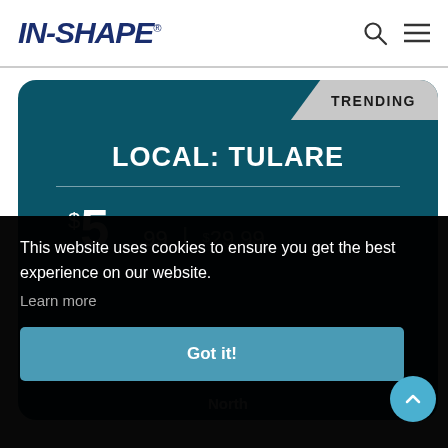IN-SHAPE
[Figure (screenshot): IN-SHAPE gym membership pricing card for LOCAL: TULARE location with TRENDING badge, showing $54.99 | $29.99 pricing]
This website uses cookies to ensure you get the best experience on our website.
Learn more
Got it!
North